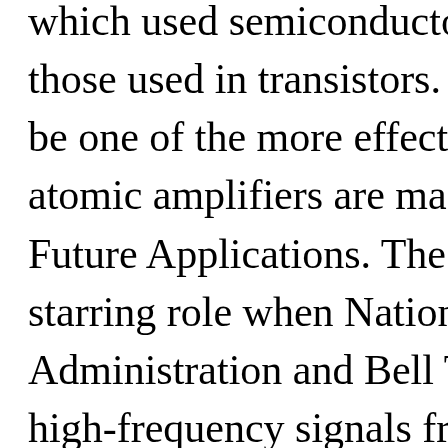which used semiconductor solids, some those used in transistors. So far, synthe be one of the more effective materials, atomic amplifiers are made of this ma Future Applications. The maser seems starring role when National Aeronauti Administration and Bell Telephone sc high-frequency signals from coast to c Atlantic by bouncing them off satellite